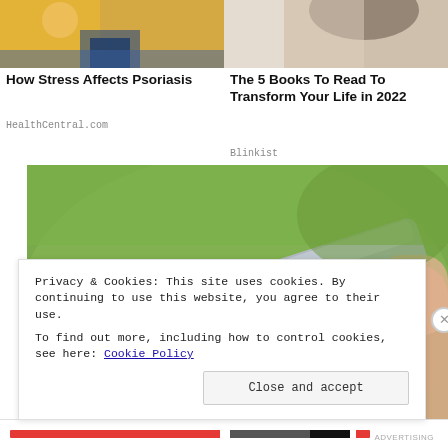[Figure (photo): Two article thumbnails side by side: left shows a person in yellow clothing (stress/psoriasis article), right shows a woman with dark hair (books article)]
How Stress Affects Psoriasis
HealthCentral.com
The 5 Books To Read To Transform Your Life in 2022
Blinkist
[Figure (photo): Close-up photo of hands applying cream or ointment from a silver tube onto a fingertip, outdoors with green background]
Privacy & Cookies: This site uses cookies. By continuing to use this website, you agree to their use.
To find out more, including how to control cookies, see here: Cookie Policy
Close and accept